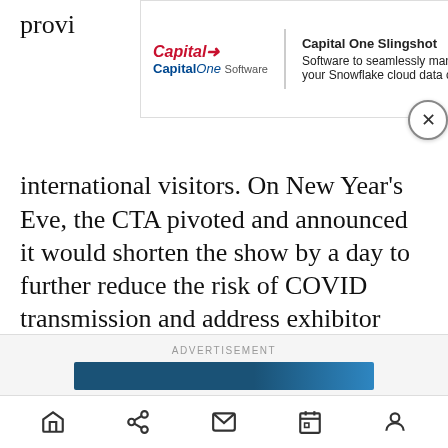[Figure (screenshot): Capital One Slingshot advertisement banner with Capital One Software logo on left and text 'Software to seamlessly manage your Snowflake cloud data costs.' on right, with a close (X) button]
provide attend international visitors. On New Year's Eve, the CTA pivoted and announced it would shorten the show by a day to further reduce the risk of COVID transmission and address exhibitor staffing challenges.
“In part, our decision making was guided by President Biden’s December remarks, in which he urged Americans to focus on masking, vaccinations and testing – but emphasized that the country need not and should not shut down,” Shapiro said.
ADVERTISEMENT
[Figure (screenshot): Bottom advertisement blue bar]
Home Share Mail Calendar Profile